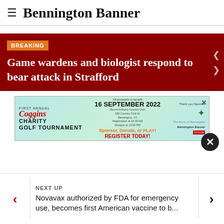Bennington Banner
Game wardens and biologist respond to bear attack in Strafford
[Figure (screenshot): Advertisement for Coggins Charity Golf Tournament, First Annual, 16 September 2022, Mount Anthony Country Club, Bennington VT. Sponsor, Donate, or PLAY! Register Today! Benefits Sunrise Family Resource Center. Thank you Sponsor: The Bank of Bennington, Bennington Banner, Toyota.]
NEXT UP
Novavax authorized by FDA for emergency use, becomes first American vaccine to b...